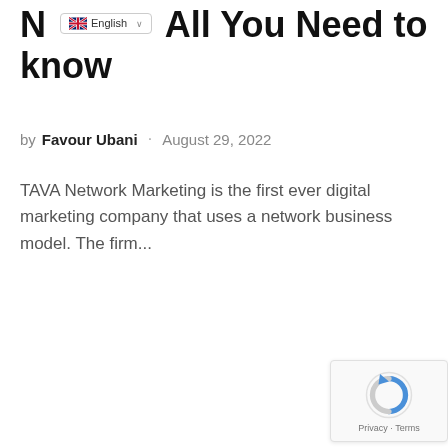N... All You Need to know
by Favour Ubani · August 29, 2022
TAVA Network Marketing is the first ever digital marketing company that uses a network business model. The firm...